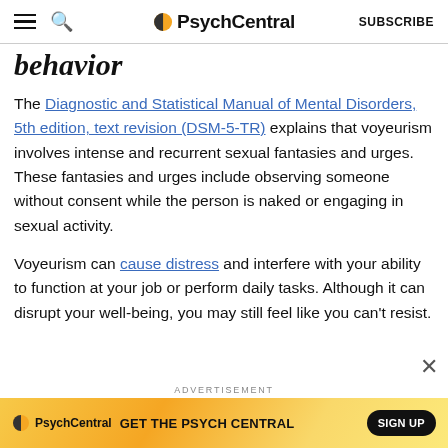PsychCentral — SUBSCRIBE
behavior
The Diagnostic and Statistical Manual of Mental Disorders, 5th edition, text revision (DSM-5-TR) explains that voyeurism involves intense and recurrent sexual fantasies and urges. These fantasies and urges include observing someone without consent while the person is naked or engaging in sexual activity.
Voyeurism can cause distress and interfere with your ability to function at your job or perform daily tasks. Although it can disrupt your well-being, you may still feel like you can't resist.
[Figure (other): PsychCentral advertisement banner: GET THE PSYCH CENTRAL — SIGN UP button]